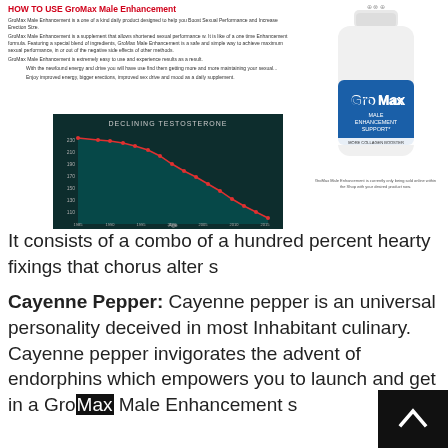HOW TO USE GroMax Male Enhancement
GroMax Male Enhancement is a one of a kind daily product designed to help you Boost Sexual Performance and Increase Erection Size.
GroMax Male Enhancement is a supplement that allows shortened sexual performance. It is like of a one time Enhancement formula. Featuring a special blend of ingredients, GroMax Male Enhancement is a safe and simple way to achieve maximum sexual performance, in or out of the negative side effects of other methods.
GroMax Male Enhancement is extremely easy to use and experience results as a result.
With the newfound energy and drive you will have you find them getting more and more maintaining your sexual...
Enjoy improved energy, bigger erections, improved sex drive and mood as a daily supplement.
[Figure (continuous-plot): Line chart titled DECLINING TESTOSTERONE showing a red downward-sloping line on a dark teal/dark background over age, indicating declining testosterone levels over time.]
[Figure (photo): White bottle of GroMax Male Enhancement Support supplement with blue label.]
GroMax Male Enhancement is currently only being sold online within the Shop with your desired product now.
It consists of a combo of a hundred percent hearty fixings that chorus alter s
Cayenne Pepper: Cayenne pepper is an universal personality deceived in most Inhabitant culinary. Cayenne pepper invigorates the advent of endorphins which empowers you to launch and get in a GroMax Male Enhancement s